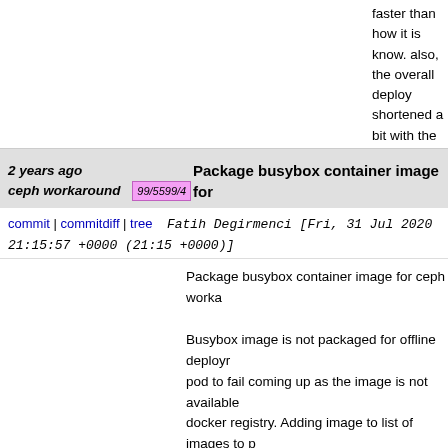faster than how it is know. also, the overall deploy shortened a bit with the help of this due to dealing based on stack

Depends-On: I713d0e333bc4a01c92e6aa6ae1a4e6f3d9efe Change-Id: I9508275fe581cea15af3c9e7dfa0b334237046
2 years ago ceph workaround  99/5599/4   Package busybox container image for
commit | commitdiff | tree   Fatih Degirmenci [Fri, 31 Jul 2020 21:15:57 +0000 (21:15 +0000)]
Package busybox container image for ceph worka

Busybox image is not packaged for offline deployr pod to fail coming up as the image is not available docker registry. Adding image to list of images to p package. Busybox repo in the install template is al in order to get rid of duplicated path and adjust it b the path it gets on local registry.

Warning  Failed    118s (x4 over 3m56s)      kube

Change-Id: Ibc173049c1bae5676dde2a686bd6092761dc6